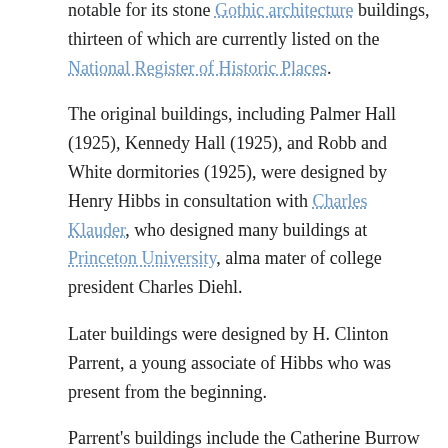notable for its stone Gothic architecture buildings, thirteen of which are currently listed on the National Register of Historic Places.
The original buildings, including Palmer Hall (1925), Kennedy Hall (1925), and Robb and White dormitories (1925), were designed by Henry Hibbs in consultation with Charles Klauder, who designed many buildings at Princeton University, alma mater of college president Charles Diehl.
Later buildings were designed by H. Clinton Parrent, a young associate of Hibbs who was present from the beginning.
Parrent's buildings include the Catherine Burrow Refectory (1957), which was an expansion of Hibbs' original dining hall.